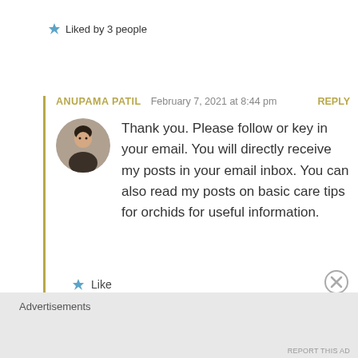★ Liked by 3 people
ANUPAMA PATIL  February 7, 2021 at 8:44 pm  REPLY
[Figure (photo): Circular avatar photo of a woman (Anupama Patil)]
Thank you. Please follow or key in your email. You will directly receive my posts in your email inbox. You can also read my posts on basic care tips for orchids for useful information.
★ Like
Advertisements
REPORT THIS AD